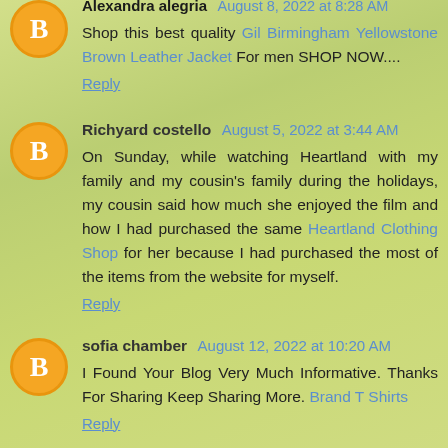Alexandra alegria August 8, 2022 at 8:28 AM
Shop this best quality Gil Birmingham Yellowstone Brown Leather Jacket For men SHOP NOW....
Reply
Richyard costello August 5, 2022 at 3:44 AM
On Sunday, while watching Heartland with my family and my cousin's family during the holidays, my cousin said how much she enjoyed the film and how I had purchased the same Heartland Clothing Shop for her because I had purchased the most of the items from the website for myself.
Reply
sofia chamber August 12, 2022 at 10:20 AM
I Found Your Blog Very Much Informative. Thanks For Sharing Keep Sharing More. Brand T Shirts
Reply